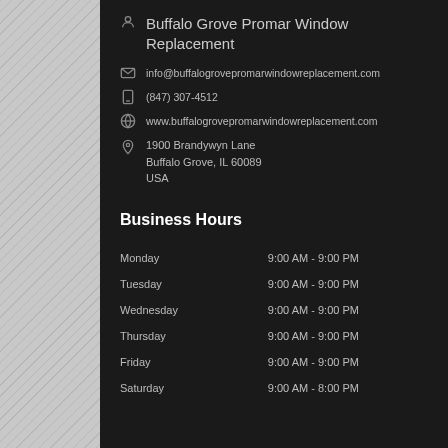Buffalo Grove Promar Window Replacement
info@buffalogrovepromarwindowreplacement.com
(847) 307-4512
www.buffalogrovepromarwindowreplacement.com
1900 Brandywyn Lane
Buffalo Grove, IL 60089
USA
Business Hours
| Day | Hours |
| --- | --- |
| Monday | 9:00 AM - 9:00 PM |
| Tuesday | 9:00 AM - 9:00 PM |
| Wednesday | 9:00 AM - 9:00 PM |
| Thursday | 9:00 AM - 9:00 PM |
| Friday | 9:00 AM - 9:00 PM |
| Saturday | 9:00 AM - 8:00 PM |